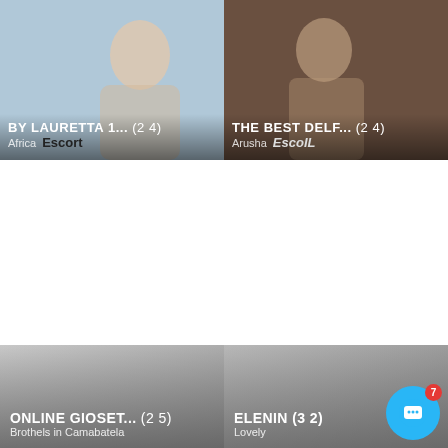[Figure (photo): Escort listing card: BY LAURETTA 1... (24), Africa, Escort badge]
[Figure (photo): Escort listing card: THE BEST DELF... (24), Arusha, Escort badge]
[Figure (photo): White empty middle area]
[Figure (photo): Listing card: ONLINE GIOSET... (25), Brothels in Camabatela]
[Figure (photo): Listing card: ELENIN (32), Lovely]
[Figure (photo): Bottom left white card]
[Figure (photo): Bottom right dark photo card]